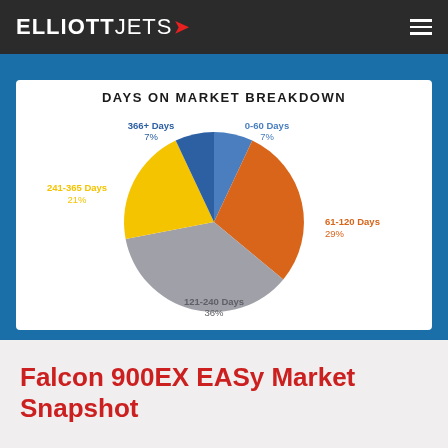ELLIOTT JETS
[Figure (pie-chart): DAYS ON MARKET BREAKDOWN]
Falcon 900EX EASy Market Snapshot